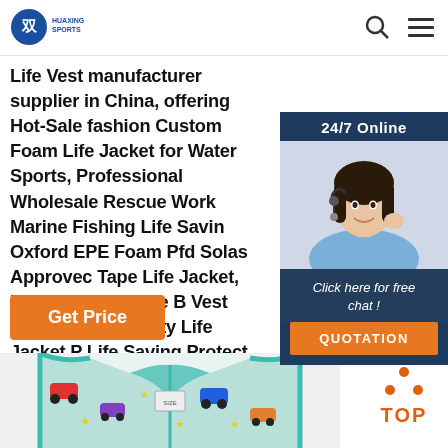HUAXING SPORTS
Life Vest manufacturer supplier in China, offering Hot-Sale fashion Custom Foam Life Jacket for Water Sports, Professional Wholesale Rescue Work Marine Fishing Life Saving Oxford EPE Foam Pfd Solas Approved Tape Life Jacket, Hot Sale Neoprene Buoy Vest Adult Marine Safety Life Jacket PFD Life Saving Protect Safety ...
Get Price
[Figure (photo): Customer support representative with headset, 24/7 Online chat widget with 'Click here for free chat!' and 'QUOTATION' button]
[Figure (photo): Children's life vest with car pattern design, light blue trim, front view]
[Figure (infographic): TOP navigation icon with orange triangle dots and bold orange TOP text]